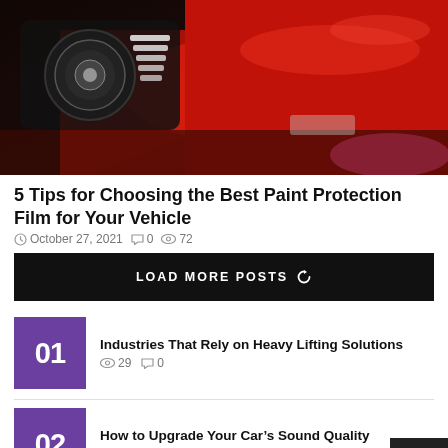[Figure (photo): Close-up photo of a red sports car headlight and front hood]
5 Tips for Choosing the Best Paint Protection Film for Your Vehicle
October 27, 2021   0   72
LOAD MORE POSTS
01 Industries That Rely on Heavy Lifting Solutions   29   0
02 How to Upgrade Your Car's Sound Quality   33   0